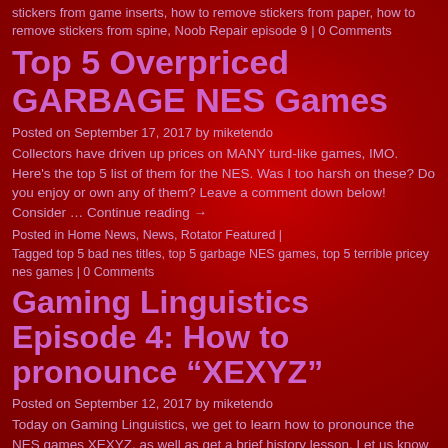stickers from game inserts, how to remove stickers from paper, how to remove stickers from spine, Noob Repair episode 9 | 0 Comments
Top 5 Overpriced GARBAGE NES Games
Posted on September 17, 2017 by miketendo
Collectors have driven up prices on MANY turd-like games, IMO. Here's the top 5 list of them for the NES. Was I too harsh on these? Do you enjoy or own any of them? Leave a comment down below! Consider ... Continue reading →
Posted in Home News, News, Rotator Featured | Tagged top 5 bad nes titles, top 5 garbage NES games, top 5 terrible pricey nes games | 0 Comments
Gaming Linguistics Episode 4: How to pronounce “XEXYZ”
Posted on September 12, 2017 by miketendo
Today on Gaming Linguistics, we get to learn how to pronounce the NES games XEXYZ, as well as get a brief history lesson. Let us know your thoughts on this in the comments below! Thanks to